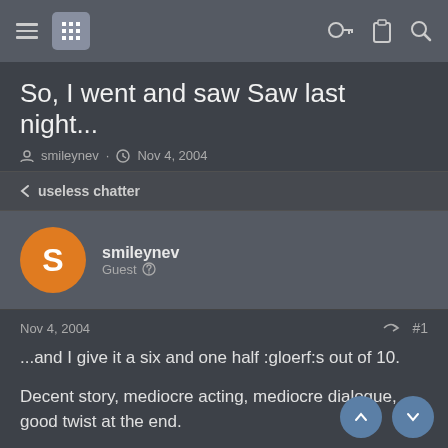Navigation bar with menu, grid icon, key icon, clipboard icon, search icon
So, I went and saw Saw last night...
smileynev · Nov 4, 2004
< useless chatter
smileynev
Guest
Nov 4, 2004  #1
...and I give it a six and one half :gloerf:s out of 10.
Decent story, mediocre acting, mediocre dialogue, good twist at the end.
BTW, who checks the bowl before the tank?